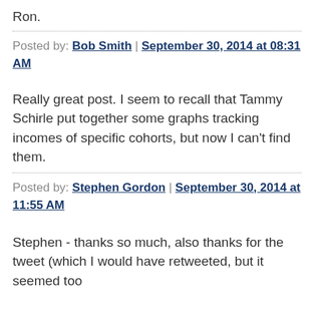Ron.
Posted by: Bob Smith | September 30, 2014 at 08:31 AM
Really great post. I seem to recall that Tammy Schirle put together some graphs tracking incomes of specific cohorts, but now I can't find them.
Posted by: Stephen Gordon | September 30, 2014 at 11:55 AM
Stephen - thanks so much, also thanks for the tweet (which I would have retweeted, but it seemed too